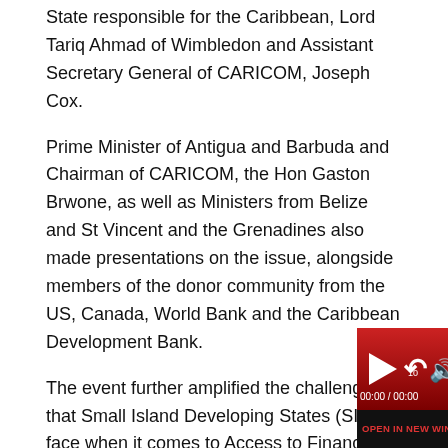State responsible for the Caribbean, Lord Tariq Ahmad of Wimbledon and Assistant Secretary General of CARICOM, Joseph Cox.
Prime Minister of Antigua and Barbuda and Chairman of CARICOM, the Hon Gaston Brwone, as well as Ministers from Belize and St Vincent and the Grenadines also made presentations on the issue, alongside members of the donor community from the US, Canada, World Bank and the Caribbean Development Bank.
The event further amplified the challenges that Small Island Developing States (SIDS) face when it comes to Access to Finance. Some existing mechanisms to deliver concessional and developmental the unique challeng the Caribbean face.
[Figure (other): Audio/media player overlay with play button, rewind 10 seconds button, volume button, time display showing 00:00 / 00:00, and an OPEN IN NEW WINDOW bar at the bottom. Red gradient background.]